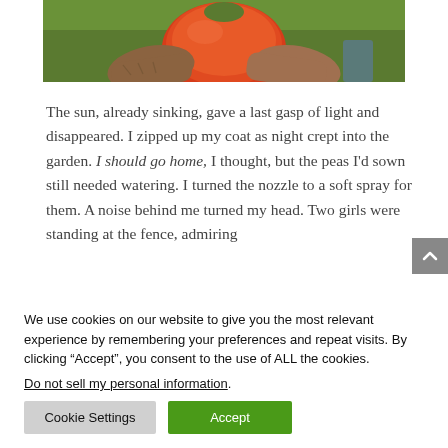[Figure (photo): Hands holding a large red tomato with green plants/foliage in the background]
The sun, already sinking, gave a last gasp of light and disappeared. I zipped up my coat as night crept into the garden. I should go home, I thought, but the peas I'd sown still needed watering. I turned the nozzle to a soft spray for them. A noise behind me turned my head. Two girls were standing at the fence, admiring
We use cookies on our website to give you the most relevant experience by remembering your preferences and repeat visits. By clicking “Accept”, you consent to the use of ALL the cookies.
Do not sell my personal information.
Cookie Settings
Accept